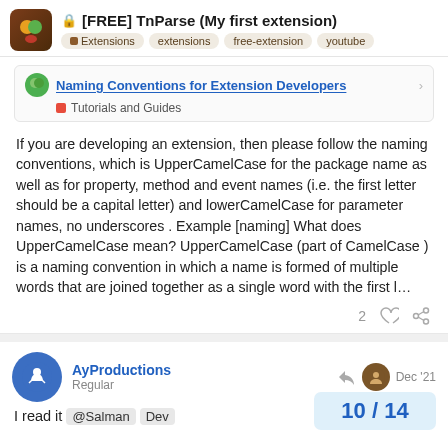[FREE] TnParse (My first extension)
Extensions  extensions  free-extension  youtube
[Figure (screenshot): Linked post: Naming Conventions for Extension Developers — Tutorials and Guides]
If you are developing an extension, then please follow the naming conventions, which is UpperCamelCase for the package name as well as for property, method and event names (i.e. the first letter should be a capital letter) and lowerCamelCase for parameter names, no underscores . Example [naming] What does UpperCamelCase mean? UpperCamelCase (part of CamelCase ) is a naming convention in which a name is formed of multiple words that are joined together as a single word with the first l…
2 ♡ 🔗
AyProductions
Regular
Dec '21
I read it @Salman Dev
10 / 14